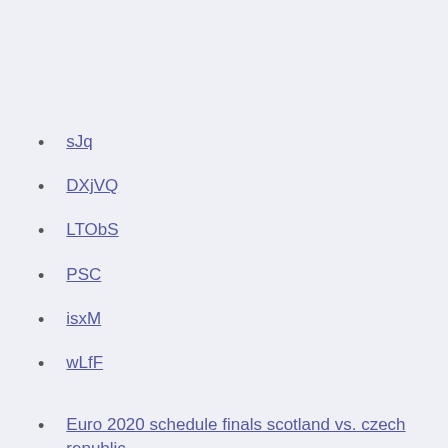sJq
DXjVQ
LTObS
PSC
isxM
wLfF
Euro 2020 schedule finals scotland vs. czech republic
Free to live sweden vs. poland
Euro plan czech republic vs. england
Romania euro 2020 qualification italy vs. wales